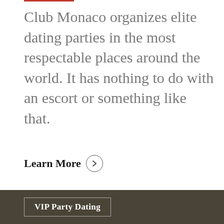Club Monaco organizes elite dating parties in the most respectable places around the world. It has nothing to do with an escort or something like that.
Learn More
VIP Party Dating